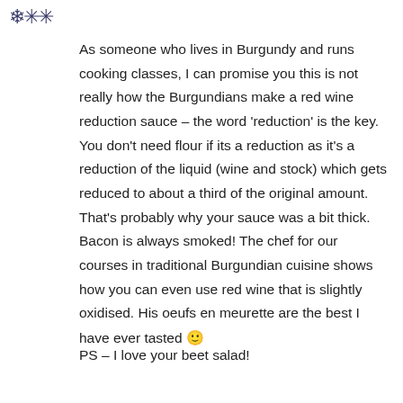[Figure (other): Decorative snowflake/star icon in dark blue/purple at top left]
As someone who lives in Burgundy and runs cooking classes, I can promise you this is not really how the Burgundians make a red wine reduction sauce – the word 'reduction' is the key. You don't need flour if its a reduction as it's a reduction of the liquid (wine and stock) which gets reduced to about a third of the original amount. That's probably why your sauce was a bit thick. Bacon is always smoked! The chef for our courses in traditional Burgundian cuisine shows how you can even use red wine that is slightly oxidised. His oeufs en meurette are the best I have ever tasted 🙂
PS – I love your beet salad!